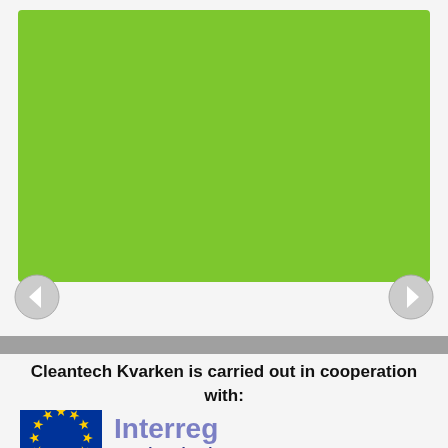[Figure (illustration): Large green rectangle placeholder image area with navigation arrows on left and right sides]
Cleantech Kvarken is carried out in cooperation with:
[Figure (logo): EU flag logo on the left (blue square with yellow stars circle) and Interreg Botnia-Atlantica logo text on the right]